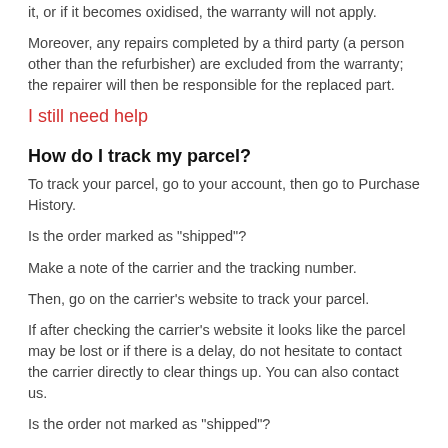it, or if it becomes oxidised, the warranty will not apply.
Moreover, any repairs completed by a third party (a person other than the refurbisher) are excluded from the warranty; the repairer will then be responsible for the replaced part.
I still need help
How do I track my parcel?
To track your parcel, go to your account, then go to Purchase History.
Is the order marked as "shipped"?
Make a note of the carrier and the tracking number.
Then, go on the carrier's website to track your parcel.
If after checking the carrier's website it looks like the parcel may be lost or if there is a delay, do not hesitate to contact the carrier directly to clear things up. You can also contact us.
Is the order not marked as "shipped"?
If you placed your order more than 2 working days ago, do not hesitate to contact us.